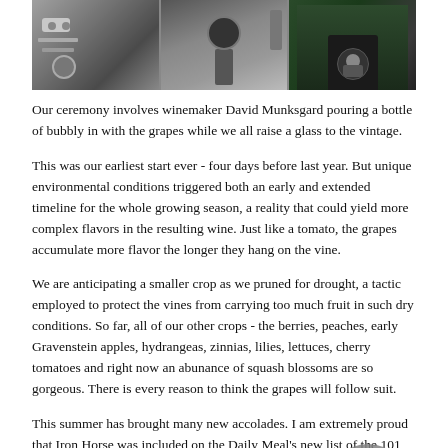[Figure (photo): A horizontal strip of three photographs showing winery/harvest equipment and a person on a tractor outdoors]
Our ceremony involves winemaker David Munksgard pouring a bottle of bubbly in with the grapes while we all raise a glass to the vintage.
This was our earliest start ever - four days before last year. But unique environmental conditions triggered both an early and extended timeline for the whole growing season, a reality that could yield more complex flavors in the resulting wine. Just like a tomato, the grapes accumulate more flavor the longer they hang on the vine.
We are anticipating a smaller crop as we pruned for drought, a tactic employed to protect the vines from carrying too much fruit in such dry conditions. So far, all of our other crops - the berries, peaches, early Gravenstein apples, hydrangeas, zinnias, lilies, lettuces, cherry tomatoes and right now an abunance of squash blossoms are so gorgeous. There is every reason to think the grapes will follow suit.
This summer has brought many new accolades. I am extremely proud that Iron Horse was included on the Daily Meal's new list of the 101 Best Wineries in America. It is a very interesting, and in many cases an unexpected compilation of wineries from across the country - not exclusively California and the Pacific Northwest. I thank the tastemakers who put it together, including